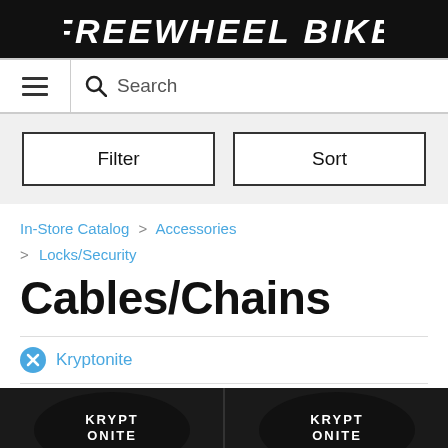FREEWHEEL BIKE
Search
Filter | Sort
In-Store Catalog > Accessories > Locks/Security
Cables/Chains
Kryptonite
[Figure (photo): Two product images showing Kryptonite Cables/Chains locks with black and white branding, partially cropped at the bottom of the page]